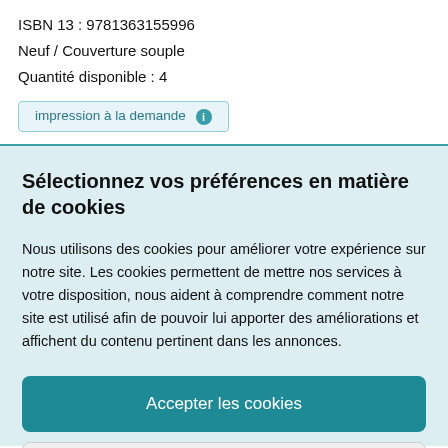ISBN 13 : 9781363155996
Neuf / Couverture souple
Quantité disponible : 4
impression à la demande ℹ
Sélectionnez vos préférences en matière de cookies
Nous utilisons des cookies pour améliorer votre expérience sur notre site. Les cookies permettent de mettre nos services à votre disposition, nous aident à comprendre comment notre site est utilisé afin de pouvoir lui apporter des améliorations et affichent du contenu pertinent dans les annonces.
Accepter les cookies
Personnaliser les cookies